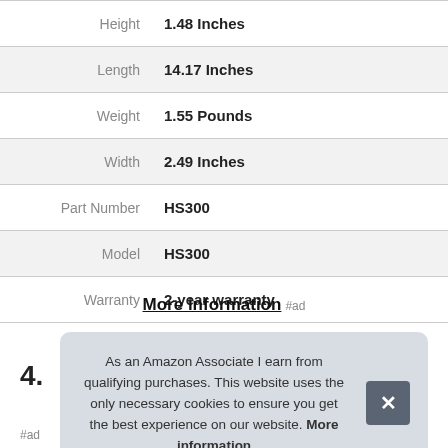| Attribute | Value |
| --- | --- |
| Height | 1.48 Inches |
| Length | 14.17 Inches |
| Weight | 1.55 Pounds |
| Width | 2.49 Inches |
| Part Number | HS300 |
| Model | HS300 |
| Warranty | 2-year warranty |
More information #ad
4.
As an Amazon Associate I earn from qualifying purchases. This website uses the only necessary cookies to ensure you get the best experience on our website. More information
#ad